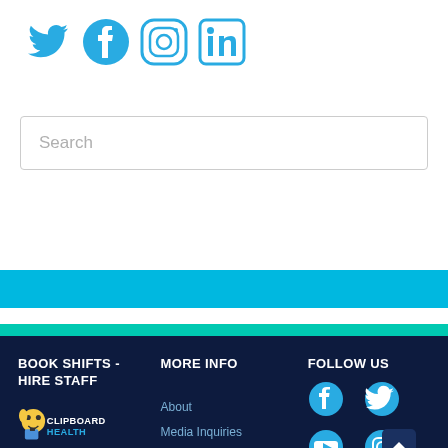[Figure (illustration): Social media icons: Twitter, Facebook, Instagram, LinkedIn in blue/cyan color at top of page]
Search
[Figure (illustration): Cyan horizontal bar followed by white strip and teal bar dividing the page]
BOOK SHIFTS - HIRE STAFF
MORE INFO
FOLLOW US
[Figure (logo): Clipboard Health logo with cartoon character]
About
Media Inquiries
Contact Us
[Figure (illustration): Footer social media icons: Facebook, Twitter (top row), YouTube, Instagram (bottom row)]